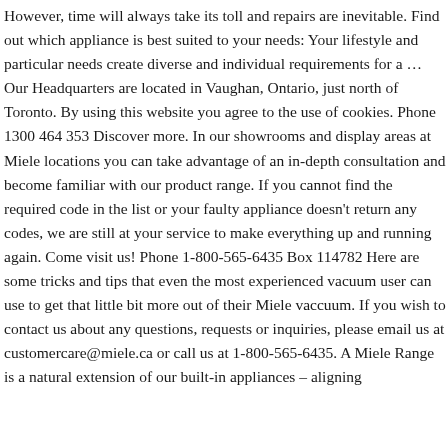However, time will always take its toll and repairs are inevitable. Find out which appliance is best suited to your needs: Your lifestyle and particular needs create diverse and individual requirements for a … Our Headquarters are located in Vaughan, Ontario, just north of Toronto. By using this website you agree to the use of cookies. Phone 1300 464 353 Discover more. In our showrooms and display areas at Miele locations you can take advantage of an in-depth consultation and become familiar with our product range. If you cannot find the required code in the list or your faulty appliance doesn't return any codes, we are still at your service to make everything up and running again. Come visit us! Phone 1-800-565-6435 Box 114782 Here are some tricks and tips that even the most experienced vacuum user can use to get that little bit more out of their Miele vaccuum. If you wish to contact us about any questions, requests or inquiries, please email us at customercare@miele.ca or call us at 1-800-565-6435. A Miele Range is a natural extension of our built-in appliances – aligning